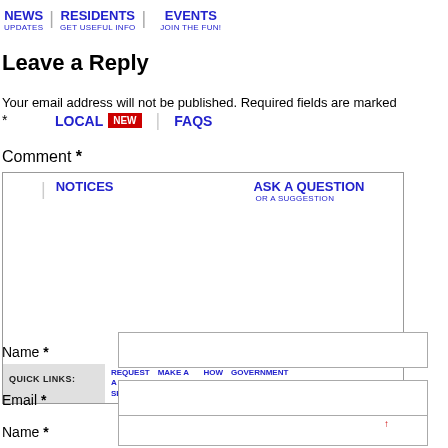NEWS | UPDATES | RESIDENTS | GET USEFUL INFO | EVENTS | JOIN THE FUN!
Leave a Reply
Your email address will not be published. Required fields are marked *
LOCAL NEW | FAQS | NOTICES | ASK A QUESTION | OR A SUGGESTION
Comment *
QUICK LINKS: | REQUEST A 311 SERVICE | MAKE A PAYMENT | HOW DO I… | GOVERNMENT
Name *
Email *